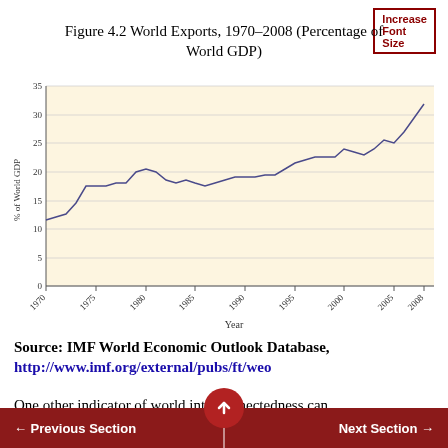Figure 4.2 World Exports, 1970–2008 (Percentage of World GDP)
[Figure (line-chart): World Exports, 1970–2008 (Percentage of World GDP)]
Source: IMF World Economic Outlook Database, http://www.imf.org/external/pubs/ft/weo
One other indicator of world interconnectedness can